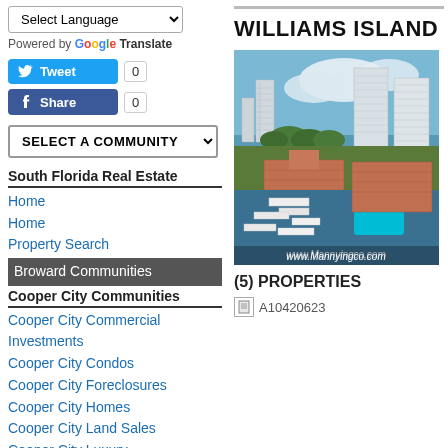Select Language (dropdown)
Powered by Google Translate
Tweet 0
Share 0
SELECT A COMMUNITY (dropdown)
South Florida Real Estate
Home
Home
Property Search
Broward Communities
Cooper City Communities
Cooper City Commercial Investments
Cooper City Condos
Cooper City Foreclosures
Cooper City Homes
Cooper City Land Sales
Cooper City Luxury
Cooper City Multifamily
Cooper City Pet Friendly Rentals
Cooper City Rentals
Coral Springs Communities
WILLIAMS ISLAND
[Figure (photo): Aerial view of Williams Island luxury waterfront condominiums and marina in South Florida. Tall white condominium towers visible against blue sky and water. Watermark: www.Mannyingco.com]
(5) PROPERTIES
A10420623